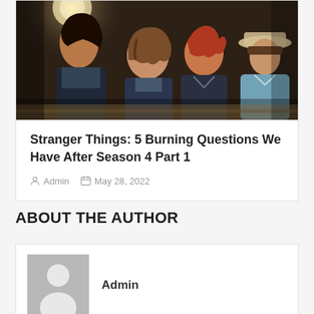[Figure (photo): Scene from Stranger Things Season 4 showing four young characters looking concerned in what appears to be a diner or restaurant setting.]
Stranger Things: 5 Burning Questions We Have After Season 4 Part 1
Admin   May 28, 2022
ABOUT THE AUTHOR
Admin